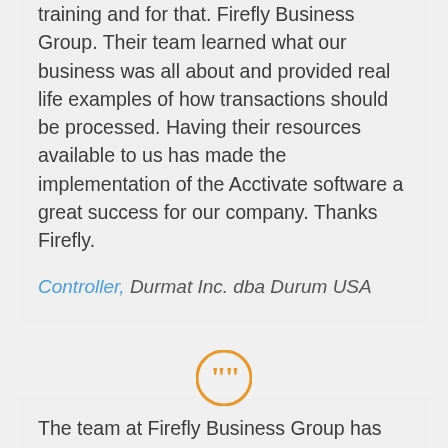training and for that. Firefly Business Group. Their team learned what our business was all about and provided real life examples of how transactions should be processed. Having their resources available to us has made the implementation of the Acctivate software a great success for our company. Thanks Firefly.
Controller, Durmat Inc. dba Durum USA
[Figure (illustration): Orange circle with double closing quotation marks icon]
The team at Firefly Business Group has been key to adapting the Acctivate software to our unique